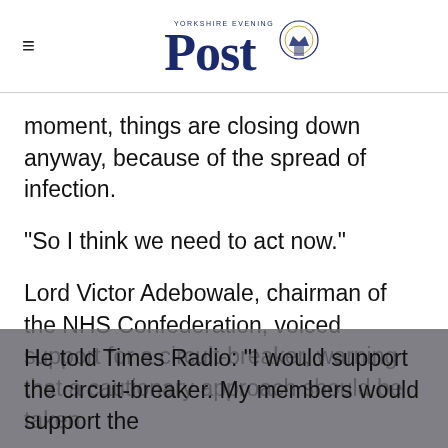Yorkshire Evening Post
moment, things are closing down anyway, because of the spread of infection.
"So I think we need to act now."
Lord Victor Adebowale, chairman of the NHS Confederation, voiced support for a circuit-breaker, warning that a cautionary approach should be taken.
He told Times Radio: "I would support the circuit-breaker. My members would support the